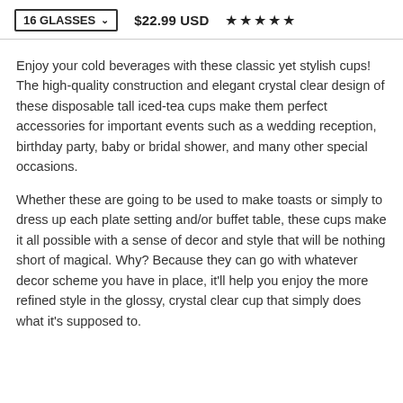16 GLASSES  $22.99 USD ★★★★★
Enjoy your cold beverages with these classic yet stylish cups! The high-quality construction and elegant crystal clear design of these disposable tall iced-tea cups make them perfect accessories for important events such as a wedding reception, birthday party, baby or bridal shower, and many other special occasions.
Whether these are going to be used to make toasts or simply to dress up each plate setting and/or buffet table, these cups make it all possible with a sense of decor and style that will be nothing short of magical. Why? Because they can go with whatever decor scheme you have in place, it'll help you enjoy the more refined style in the glossy, crystal clear cup that simply does what it's supposed to.